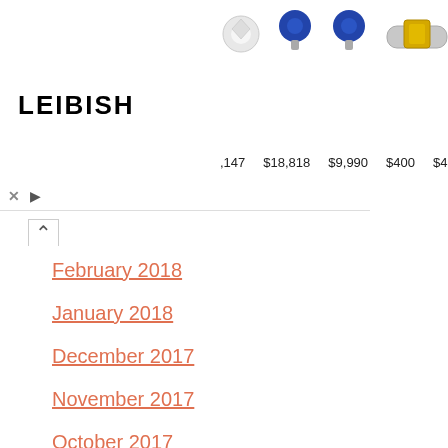[Figure (other): Leibish jewelry advertisement banner showing gemstones and prices including $18,818, $9,990, $400, $400, $283]
February 2018
January 2018
December 2017
November 2017
October 2017
September 2017
August 2017
July 2017